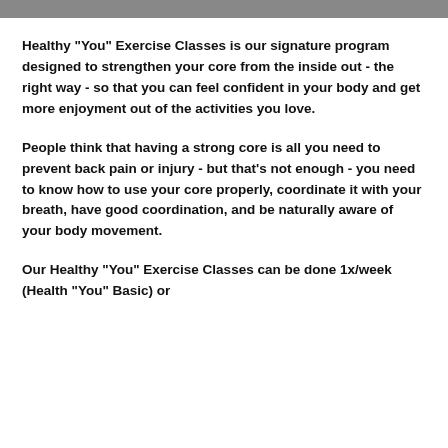Healthy "You" Exercise Classes is our signature program designed to strengthen your core from the inside out - the right way - so that you can feel confident in your body and get more enjoyment out of the activities you love.
People think that having a strong core is all you need to prevent back pain or injury - but that's not enough - you need to know how to use your core properly, coordinate it with your breath, have good coordination, and be naturally aware of your body movement.
Our Healthy "You" Exercise Classes can be done 1x/week (Health "You" Basic) or